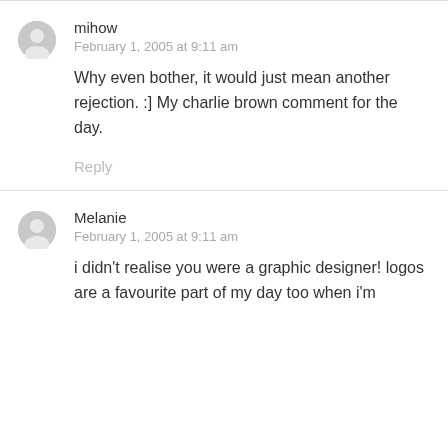mihow
February 1, 2005 at 9:11 am
Why even bother, it would just mean another rejection. :] My charlie brown comment for the day.
Reply
Melanie
February 1, 2005 at 9:11 am
i didn't realise you were a graphic designer! logos are a favourite part of my day too when i'm